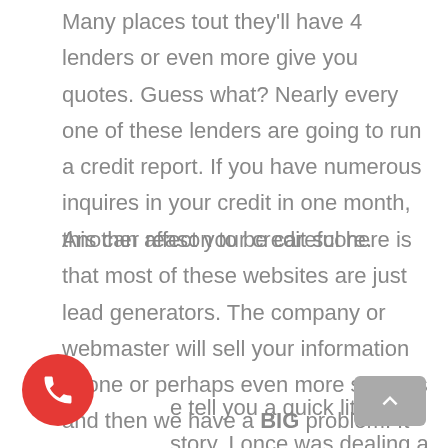Many places tout they'll have 4 lenders or even more give you quotes. Guess what? Nearly every one of these lenders are going to run a credit report. If you have numerous inquires in your credit in one month, this can affect your credit score.
Another reason to be careful here is that most of these websites are just lead generators. The company or webmaster will sell your information to one or perhaps even more sources and then we have a BIG problem. It can costs you in your credit score. The lower your credit score, the higher your interest rate will be. The higher your credit score the lower your interest rate.
e tell you a quick little story. I once was dealing a person who wanted to refinance. We had gone
[Figure (other): Red circular phone call button in the bottom-left corner]
[Figure (other): Grey rounded rectangle scroll-to-top button with upward chevron arrow in the bottom-right corner]